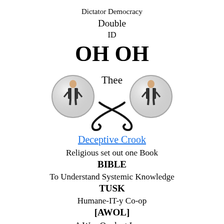Dictator Democracy
Double
ID
OH OH
[Figure (illustration): Two circular globe-like images each containing a man in a suit with empty pockets, flanking the word 'Thee' in the center, with two large fishhooks crossing below them in an X shape.]
Deceptive Crook
Religious set out one Book
BIBLE
To Understand Systemic Knowledge
TUSK
Humane-IT-y Co-op
[AWOL]
A Way Opulent Lucre
Religious Political Media Segregate